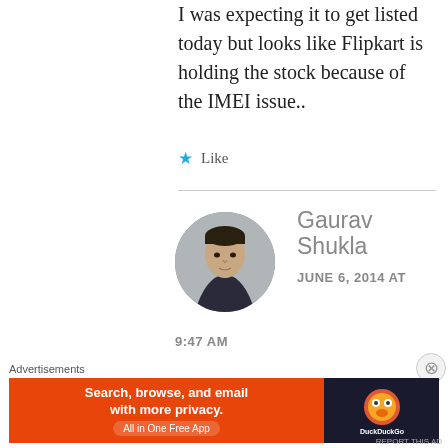I was expecting it to get listed today but looks like Flipkart is holding the stock because of the IMEI issue..
★ Like
Gaurav Shukla
JUNE 6, 2014 AT 9:47 AM
[Figure (photo): Circular avatar photo of Gaurav Shukla, a man in a dark shirt against a grey background]
Advertisements
[Figure (infographic): DuckDuckGo advertisement banner: orange background with text 'Search, browse, and email with more privacy. All in One Free App' and DuckDuckGo logo on dark right panel]